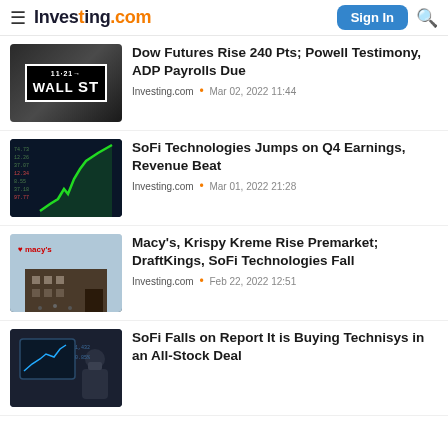Investing.com — Sign In
Dow Futures Rise 240 Pts; Powell Testimony, ADP Payrolls Due
Investing.com • Mar 02, 2022 11:44
SoFi Technologies Jumps on Q4 Earnings, Revenue Beat
Investing.com • Mar 01, 2022 21:28
Macy's, Krispy Kreme Rise Premarket; DraftKings, SoFi Technologies Fall
Investing.com • Feb 22, 2022 12:51
SoFi Falls on Report It is Buying Technisys in an All-Stock Deal